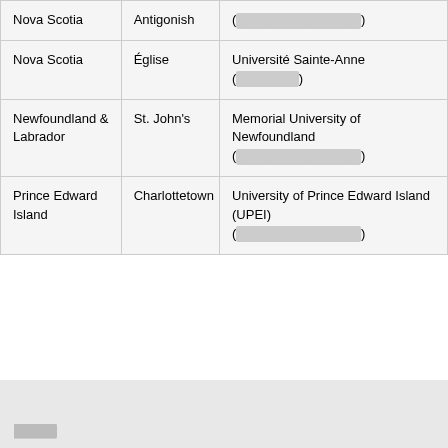| Nova Scotia | Antigonish | (████████████████) |
| Nova Scotia | Église | Université Sainte-Anne
(████████) |
| Newfoundland &
Labrador | St. John's | Memorial University of Newfoundland
(████████████████) |
| Prince Edward Island | Charlottetown | University of Prince Edward Island (UPEI)
(████████████████) |
█████